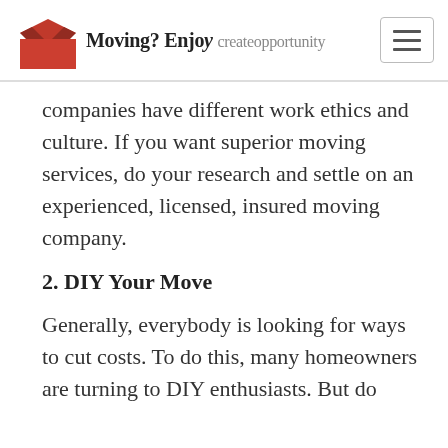Moving? Enjoy the Journey | createopportunity
companies have different work ethics and culture. If you want superior moving services, do your research and settle on an experienced, licensed, insured moving company.
2. DIY Your Move
Generally, everybody is looking for ways to cut costs. To do this, many homeowners are turning to DIY enthusiasts. But do